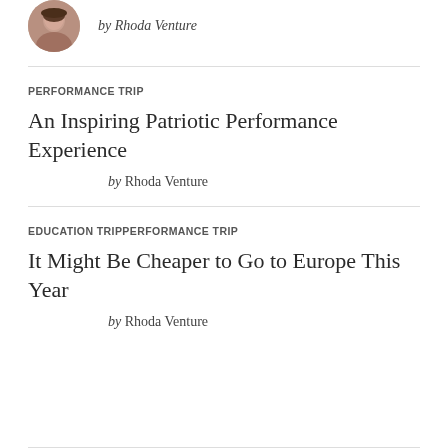[Figure (photo): Circular avatar photo of Rhoda Venture, a woman with dark hair]
by Rhoda Venture
PERFORMANCE TRIP
An Inspiring Patriotic Performance Experience
by Rhoda Venture
EDUCATION TRIPPERFORMANCE TRIP
It Might Be Cheaper to Go to Europe This Year
by Rhoda Venture